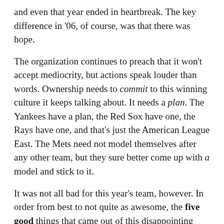and even that year ended in heartbreak. The key difference in '06, of course, was that there was hope.
The organization continues to preach that it won't accept mediocrity, but actions speak louder than words. Ownership needs to commit to this winning culture it keeps talking about. It needs a plan. The Yankees have a plan, the Red Sox have one, the Rays have one, and that's just the American League East. The Mets need not model themselves after any other team, but they sure better come up with a model and stick to it.
It was not all bad for this year's team, however. In order from best to not quite as awesome, the five good things that came out of this disappointing season:
1. Angel Pagan
Pagan was this season's most valuable Met if you like the Wins Above Replacement (WAR) stat. Many everyday observers, even those who don't subscribe to advanced metrics, would